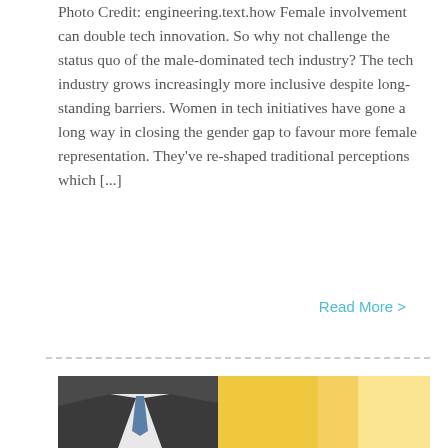Photo Credit: engineering.text.how Female involvement can double tech innovation. So why not challenge the status quo of the male-dominated tech industry? The tech industry grows increasingly more inclusive despite long-standing barriers. Women in tech initiatives have gone a long way in closing the gender gap to favour more female representation. They've re-shaped traditional perceptions which [...]
Read More >
[Figure (photo): Photo of a person in a suit and tie, partially cropped, with a bright background]